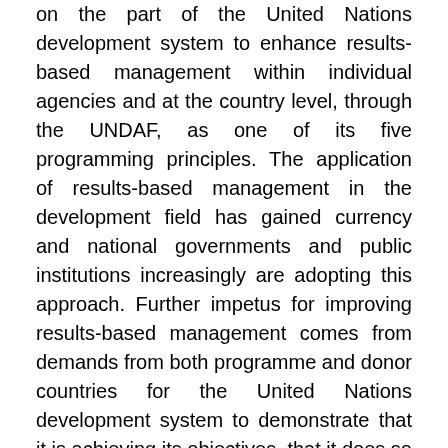on the part of the United Nations development system to enhance results-based management within individual agencies and at the country level, through the UNDAF, as one of its five programming principles. The application of results-based management in the development field has gained currency and national governments and public institutions increasingly are adopting this approach. Further impetus for improving results-based management comes from demands from both programme and donor countries for the United Nations development system to demonstrate that it is achieving its objectives, that it does so efficiently and that its activities are relevant to the needs and priorities of programme countries and contribute to improved and sustainable development outcomes.
HISTORY
The United Nations began to implement results-based management through the programme budget process.